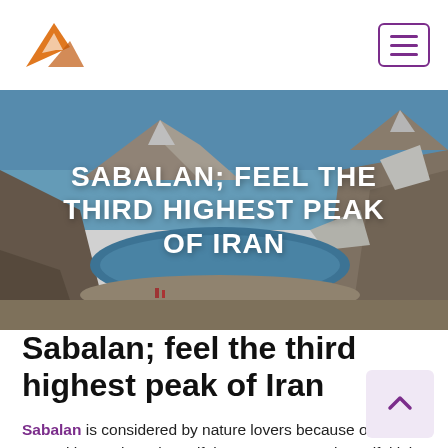Navigation header with logo and hamburger menu
[Figure (photo): Mountain landscape with a glacial lake in a rocky crater, snow patches on surrounding peaks under a clear blue sky. White text overlay reads: SABALAN; FEEL THE THIRD HIGHEST PEAK OF IRAN]
Sabalan; feel the third highest peak of Iran
Sabalan is considered by nature lovers because of its natural hot springs, beautiful summer nature, beautiful lake at the top of the